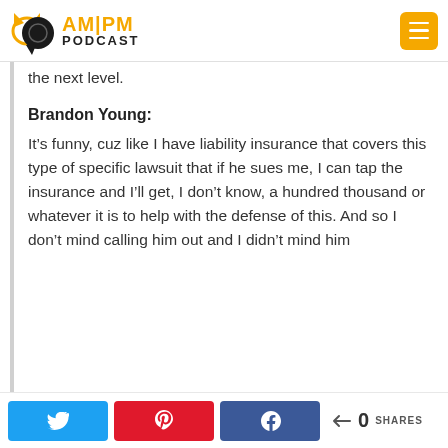AM|PM PODCAST
the next level.
Brandon Young:
It’s funny, cuz like I have liability insurance that covers this type of specific lawsuit that if he sues me, I can tap the insurance and I’ll get, I don’t know, a hundred thousand or whatever it is to help with the defense of this. And so I don’t mind calling him out and I didn’t mind him
0 SHARES